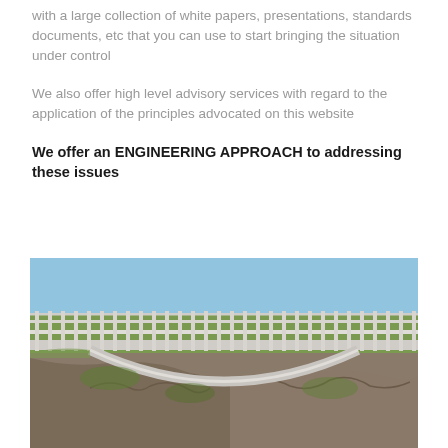with a large collection of white papers, presentations, standards documents, etc that you can use to start bringing the situation under control
We also offer high level advisory services with regard to the application of the principles advocated on this website
We offer an ENGINEERING APPROACH to addressing these issues
[Figure (photo): Photograph of a concrete arch bridge with white railings spanning a rocky gorge, with green scrubland and blue sky in the background. The arch of the bridge is visible below the deck.]